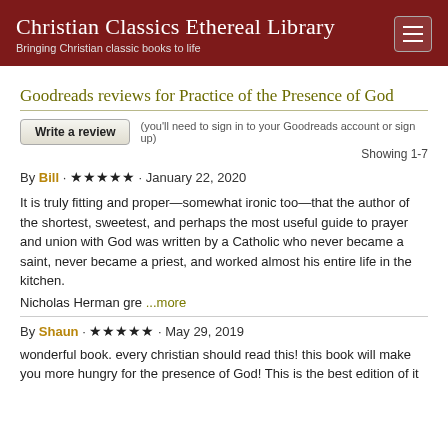Christian Classics Ethereal Library
Bringing Christian classic books to life
Goodreads reviews for Practice of the Presence of God
Write a review   (you'll need to sign in to your Goodreads account or sign up)
Showing 1-7
By Bill · ★★★★★ · January 22, 2020
It is truly fitting and proper—somewhat ironic too—that the author of the shortest, sweetest, and perhaps the most useful guide to prayer and union with God was written by a Catholic who never became a saint, never became a priest, and worked almost his entire life in the kitchen.
Nicholas Herman gre ...more
By Shaun · ★★★★★ · May 29, 2019
wonderful book. every christian should read this! this book will make you more hungry for the presence of God! This is the best edition of it